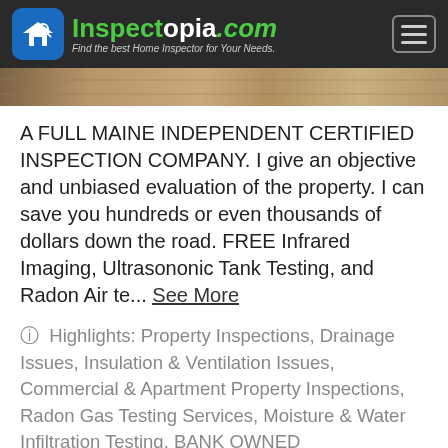Inspectopia.com — Find the best Home Inspector for Your Needs.
[Figure (photo): Partial photo strip showing a wood floor or deck surface]
A FULL MAINE INDEPENDENT CERTIFIED INSPECTION COMPANY. I give an objective and unbiased evaluation of the property. I can save you hundreds or even thousands of dollars down the road. FREE Infrared Imaging, Ultrasononic Tank Testing, and Radon Air te... See More
Highlights: Property Inspections, Drainage Issues, Insulation & Ventilation Issues, Commercial & Apartment Property Inspections, Radon Gas Testing Services, Moisture & Water Infiltration Testing, BANK OWNED PROPERTIES, New Construction Inspections, Dispute Resolution, Indoor Air Quality, Pre-Purchase Inspections, WETT Inspection, Field Service Inspections, 4 Point